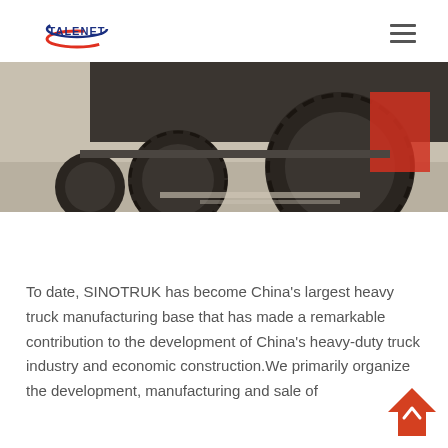TALENET
[Figure (photo): Low-angle view of large truck tires and undercarriage, with red truck visible in background]
To date, SINOTRUK has become China's largest heavy truck manufacturing base that has made a remarkable contribution to the development of China's heavy-duty truck industry and economic construction.We primarily organize the development, manufacturing and sale of trucks, semi-trailers, heavy special vehicles,